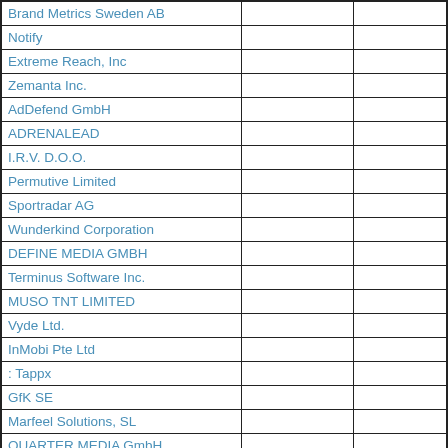| Brand Metrics Sweden AB |  |  |
| Notify |  |  |
| Extreme Reach, Inc |  |  |
| Zemanta Inc. |  |  |
| AdDefend GmbH |  |  |
| ADRENALEAD |  |  |
| I.R.V. D.O.O. |  |  |
| Permutive Limited |  |  |
| Sportradar AG |  |  |
| Wunderkind Corporation |  |  |
| DEFINE MEDIA GMBH |  |  |
| Terminus Software Inc. |  |  |
| MUSO TNT LIMITED |  |  |
| Vyde Ltd. |  |  |
| InMobi Pte Ltd |  |  |
| : Tappx |  |  |
| GfK SE |  |  |
| Marfeel Solutions, SL |  |  |
| QUARTER MEDIA GmbH |  |  |
| adsquare GmbH |  |  |